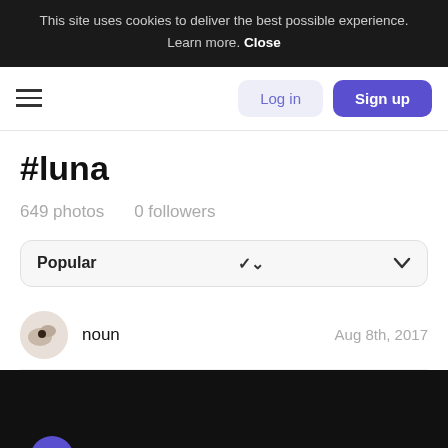This site uses cookies to deliver the best possible experience. Learn more. Close
Log in
Sign up
#luna
649 photos   0 followers
Popular
noun   Aug 8th, 2017